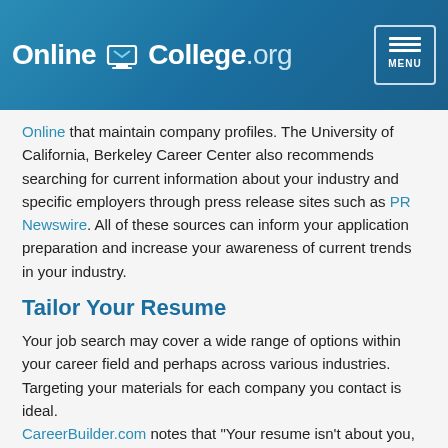OnlineCollege.org
Online that maintain company profiles. The University of California, Berkeley Career Center also recommends searching for current information about your industry and specific employers through press release sites such as PR Newswire. All of these sources can inform your application preparation and increase your awareness of current trends in your industry.
Tailor Your Resume
Your job search may cover a wide range of options within your career field and perhaps across various industries. Targeting your materials for each company you contact is ideal. CareerBuilder.com notes that "Your resume isn't about you, it's about them. … Point out how your talents and training dovetail with the company's needs so hiring managers can picture you in the job they have available."
Tailoring your resume doesn't mean that you have to completely